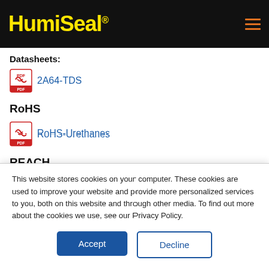HumiSeal®
Datasheets:
2A64-TDS
RoHS
RoHS-Urethanes
REACH
This website stores cookies on your computer. These cookies are used to improve your website and provide more personalized services to you, both on this website and through other media. To find out more about the cookies we use, see our Privacy Policy.
Accept
Decline